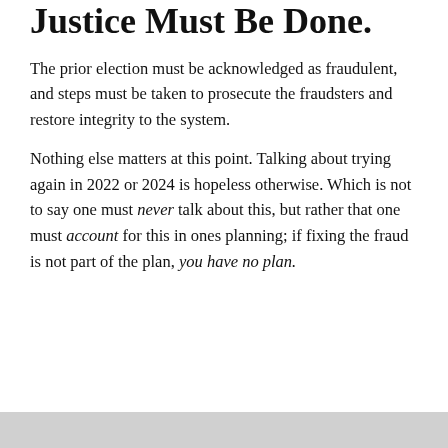Justice Must Be Done.
The prior election must be acknowledged as fraudulent, and steps must be taken to prosecute the fraudsters and restore integrity to the system.
Nothing else matters at this point. Talking about trying again in 2022 or 2024 is hopeless otherwise. Which is not to say one must never talk about this, but rather that one must account for this in ones planning; if fixing the fraud is not part of the plan, you have no plan.
Privacy & Cookies: This site uses cookies. By continuing to use this website, you agree to their use.
To find out more, including how to control cookies, see here: Cookie Policy
Close and accept